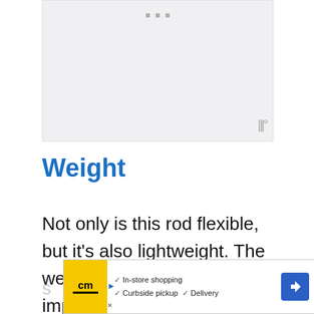[Figure (other): Empty image placeholder with gray background and three small gray dots at top center, watermark symbol at bottom right]
Weight
Not only is this rod flexible, but it's also lightweight. The weight of a fly rod is important, as you'll be carrying it and s...at
[Figure (other): Advertisement banner for cm (Curbside Market) showing yellow logo, checkmarks for In-store shopping, Curbside pickup, Delivery, and a blue navigation arrow icon]